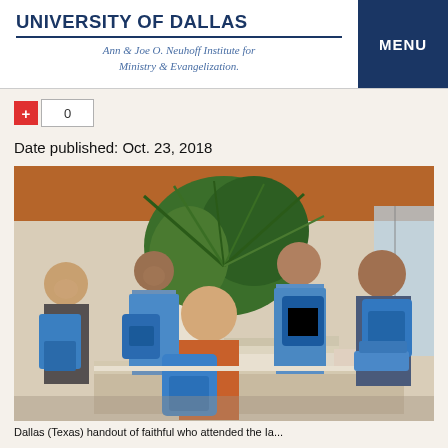UNIVERSITY OF DALLAS
Ann & Joe O. Neuhoff Institute for Ministry & Evangelization.
MENU
+ 0
Date published: Oct. 23, 2018
[Figure (photo): Five people standing at a registration/welcome table inside a building, holding up blue tote bags and smiling at the camera. Several are wearing light blue long-sleeve shirts. Books and materials are spread on the table in front of them. Large tropical plants are visible in the background with a warm wood-paneled ceiling.]
Dallas (Texas) handout of faithful who attended the Ia... [caption continues]